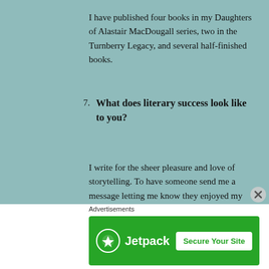I have published four books in my Daughters of Alastair MacDougall series, two in the Turnberry Legacy, and several half-finished books.
7. What does literary success look like to you?
I write for the sheer pleasure and love of storytelling. To have someone send me a message letting me know they enjoyed my books is the most gratifying success. That is what keeps me writing.
Advertisements
[Figure (other): Jetpack advertisement banner with green background, Jetpack logo on left, and 'Secure Your Site' button on right]